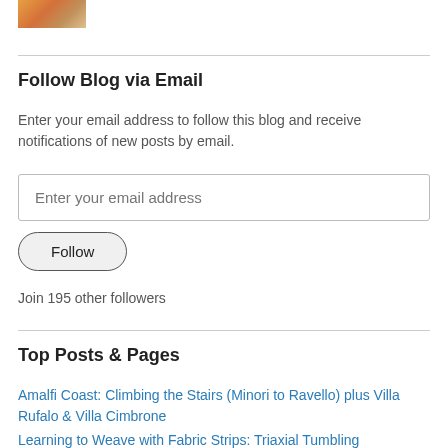[Figure (photo): Small thumbnail image, partially visible at top left]
Follow Blog via Email
Enter your email address to follow this blog and receive notifications of new posts by email.
Enter your email address
Follow
Join 195 other followers
Top Posts & Pages
Amalfi Coast: Climbing the Stairs (Minori to Ravello) plus Villa Rufalo & Villa Cimbrone
Learning to Weave with Fabric Strips: Triaxial Tumbling